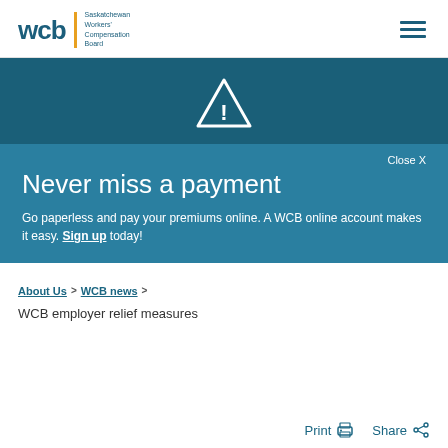wcb | Saskatchewan Workers' Compensation Board
[Figure (infographic): WCB promotional banner with warning triangle icon. Dark teal background. Title: Never miss a payment. Text: Go paperless and pay your premiums online. A WCB online account makes it easy. Sign up today! Close X button.]
About Us > WCB news >
WCB employer relief measures
Print  Share